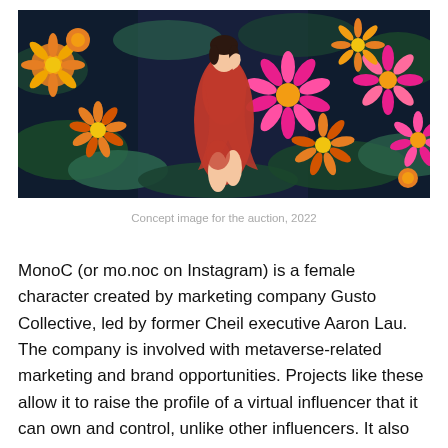[Figure (photo): A woman in a red dress lying among colorful orange, pink, and magenta flowers with green foliage on a dark background. Wide panoramic crop.]
Concept image for the auction, 2022
MonoC (or mo.noc on Instagram) is a female character created by marketing company Gusto Collective, led by former Cheil executive Aaron Lau. The company is involved with metaverse-related marketing and brand opportunities. Projects like these allow it to raise the profile of a virtual influencer that it can own and control, unlike other influencers. It also gives the company a chance to explore what new digital products and brand opportunities are